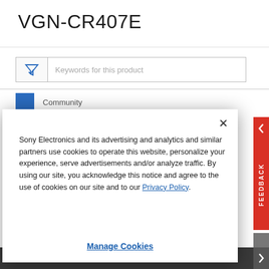VGN-CR407E
[Figure (screenshot): Search/filter input box with funnel icon and placeholder text 'Keywords for this product']
[Figure (screenshot): Cookie consent modal dialog with close button (×), body text about Sony Electronics cookies policy with a Privacy Policy link, and a 'Manage Cookies' button at the bottom. Red 'FEEDBACK' sidebar tab visible on the right.]